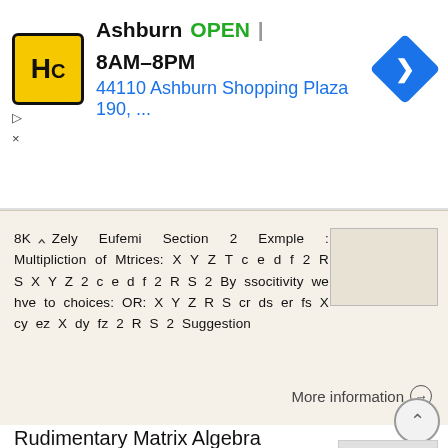[Figure (screenshot): Ad banner for HC (hardware/home center store) in Ashburn. Shows logo, OPEN status, hours 8AM-8PM, address 44110 Ashburn Shopping Plaza 190, and navigation arrow icon.]
8K Zely Eufemi Section 2 Exmple : Multipliction of Mtrices: X Y Z T c e d f 2 R S X Y Z 2 c e d f 2 R S 2 By ssocitivity we hve to choices: OR: X Y Z R S cr ds er fs X cy ez X dy fz 2 R S 2 Suggestion
More information →
Rudimentary Matrix Algebra
Rudimentry Mtrix Alger Mrk Sullivn Decemer 4, 217 i Contents 1 Preliminries 1 1.1 Why does this document exist?.................... 1 1.2 Why does nyone cre out mtrices?............... 1 1.3 Wht is mtrix?.............................